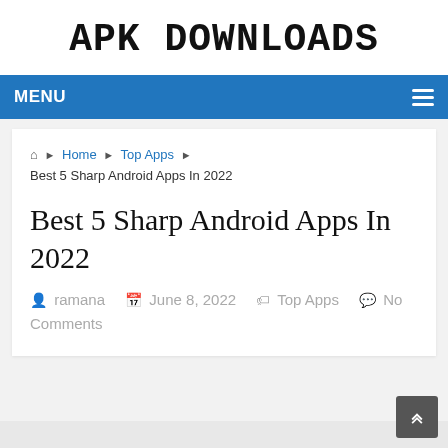APK DOWNLOADS
MENU
Home ▶ Top Apps ▶ Best 5 Sharp Android Apps In 2022
Best 5 Sharp Android Apps In 2022
ramana  June 8, 2022  Top Apps  No Comments